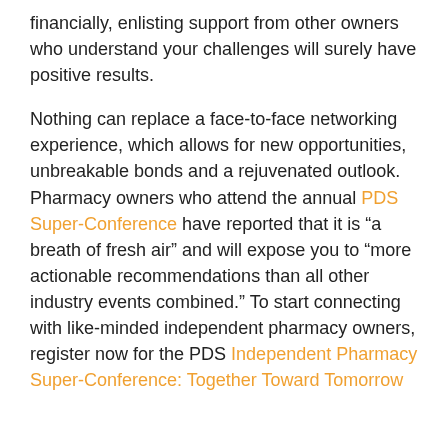financially, enlisting support from other owners who understand your challenges will surely have positive results.
Nothing can replace a face-to-face networking experience, which allows for new opportunities, unbreakable bonds and a rejuvenated outlook. Pharmacy owners who attend the annual PDS Super-Conference have reported that it is “a breath of fresh air” and will expose you to “more actionable recommendations than all other industry events combined.” To start connecting with like-minded independent pharmacy owners, register now for the PDS Independent Pharmacy Super-Conference: Together Toward Tomorrow